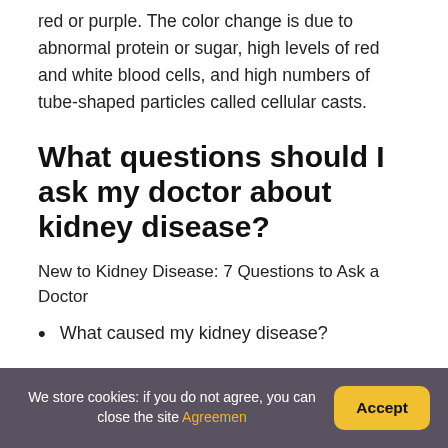red or purple. The color change is due to abnormal protein or sugar, high levels of red and white blood cells, and high numbers of tube-shaped particles called cellular casts.
What questions should I ask my doctor about kidney disease?
New to Kidney Disease: 7 Questions to Ask a Doctor
What caused my kidney disease?
We store cookies: if you do not agree, you can close the site Agreement